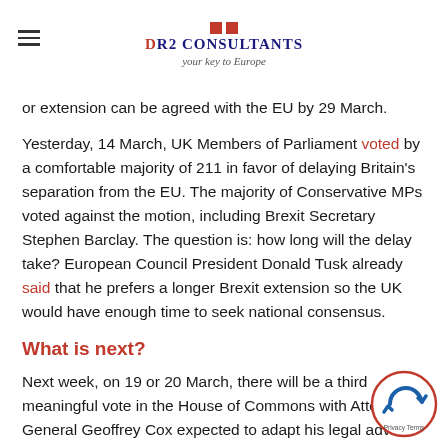DR2 CONSULTANTS — your key to Europe
or extension can be agreed with the EU by 29 March.
Yesterday, 14 March, UK Members of Parliament voted by a comfortable majority of 211 in favor of delaying Britain's separation from the EU. The majority of Conservative MPs voted against the motion, including Brexit Secretary Stephen Barclay. The question is: how long will the delay take? European Council President Donald Tusk already said that he prefers a longer Brexit extension so the UK would have enough time to seek national consensus.
What is next?
Next week, on 19 or 20 March, there will be a third meaningful vote in the House of Commons with Attorney General Geoffrey Cox expected to adapt his legal advice to say the UK can leave the backstop unilaterally. If the deal is